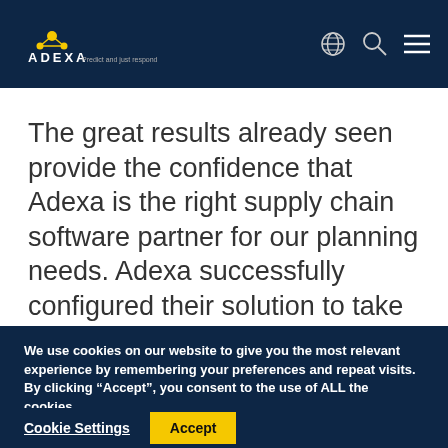ADEXA Predict and just respond
The great results already seen provide the confidence that Adexa is the right supply chain software partner for our planning needs. Adexa successfully configured their solution to take account of the intricacies in…
We use cookies on our website to give you the most relevant experience by remembering your preferences and repeat visits. By clicking “Accept”, you consent to the use of ALL the cookies.
Do not sell my personal information.
Cookie Settings
Accept